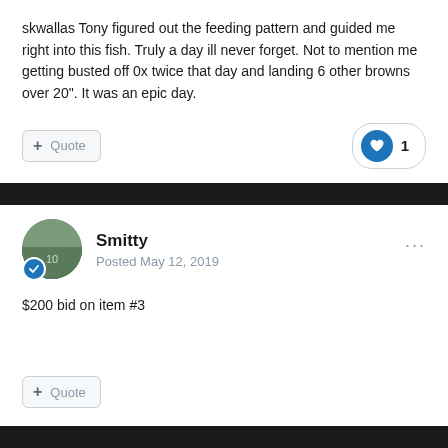skwallas Tony figured out the feeding pattern and guided me right into this fish. Truly a day ill never forget. Not to mention me getting busted off 0x twice that day and landing 6 other browns over 20". It was an epic day.
+ Quote
♥ 1
Smitty
Posted May 12, 2019
$200 bid on item #3
+ Quote